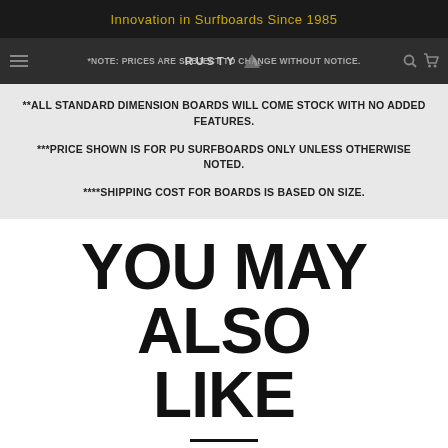Innovation in Surfboards Since 1985
*NOTE: PRICES ARE SUBJECT TO CHANGE WITHOUT NOTICE.
**ALL STANDARD DIMENSION BOARDS WILL COME STOCK WITH NO ADDED FEATURES.
***PRICE SHOWN IS FOR PU SURFBOARDS ONLY UNLESS OTHERWISE NOTED.
****SHIPPING COST FOR BOARDS IS BASED ON SIZE.
YOU MAY ALSO LIKE